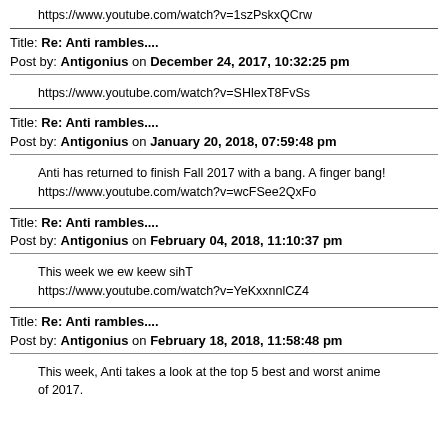https://www.youtube.com/watch?v=1szPskxQCrw
Title: Re: Anti rambles....
Post by: Antigonius on December 24, 2017, 10:32:25 pm
https://www.youtube.com/watch?v=SHlexT8FvSs
Title: Re: Anti rambles....
Post by: Antigonius on January 20, 2018, 07:59:48 pm
Anti has returned to finish Fall 2017 with a bang. A finger bang!
https://www.youtube.com/watch?v=wcFSee2QxFo
Title: Re: Anti rambles....
Post by: Antigonius on February 04, 2018, 11:10:37 pm
This week we ew keew sihT
https://www.youtube.com/watch?v=YeKxxnnlCZ4
Title: Re: Anti rambles....
Post by: Antigonius on February 18, 2018, 11:58:48 pm
This week, Anti takes a look at the top 5 best and worst anime of 2017.